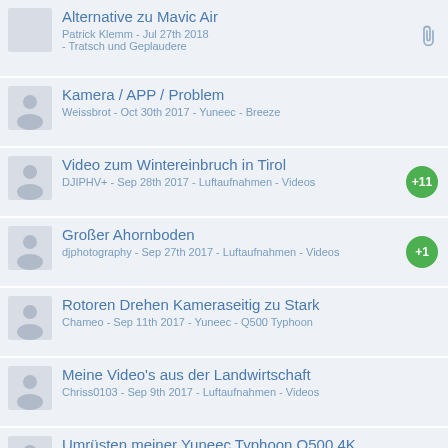Alternative zu Mavic Air
Patrick Klemm - Jul 27th 2018 - Tratsch und Geplaudere
Kamera / APP / Problem
Weissbrot - Oct 30th 2017 - Yuneec - Breeze
Video zum Wintereinbruch in Tirol
DJIPHV+ - Sep 28th 2017 - Luftaufnahmen - Videos
Großer Ahornboden
djphotography - Sep 27th 2017 - Luftaufnahmen - Videos
Rotoren Drehen Kameraseitig zu Stark
Chameo - Sep 11th 2017 - Yuneec - Q500 Typhoon
Meine Video's aus der Landwirtschaft
Chriss0103 - Sep 9th 2017 - Luftaufnahmen - Videos
Umrüsten meiner Yuneec Typhoon Q500 4K von EC3 auf XT60
Dieselfan - Jun 24th 2017 - Sonstige fachlichen und technischen Themen
Smart Mode möglich?
Diet - Apr 28th 2017 - Dji - Mavic